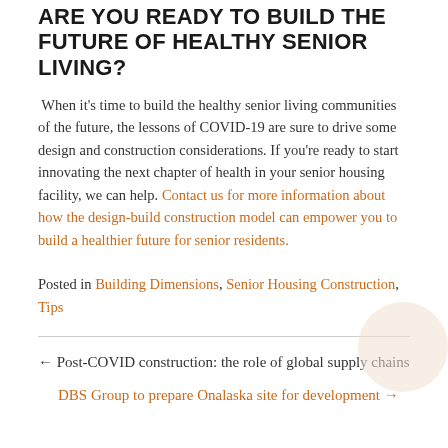ARE YOU READY TO BUILD THE FUTURE OF HEALTHY SENIOR LIVING?
When it's time to build the healthy senior living communities of the future, the lessons of COVID-19 are sure to drive some design and construction considerations. If you're ready to start innovating the next chapter of health in your senior housing facility, we can help. Contact us for more information about how the design-build construction model can empower you to build a healthier future for senior residents.
Posted in Building Dimensions, Senior Housing Construction, Tips
← Post-COVID construction: the role of global supply chains
DBS Group to prepare Onalaska site for development →